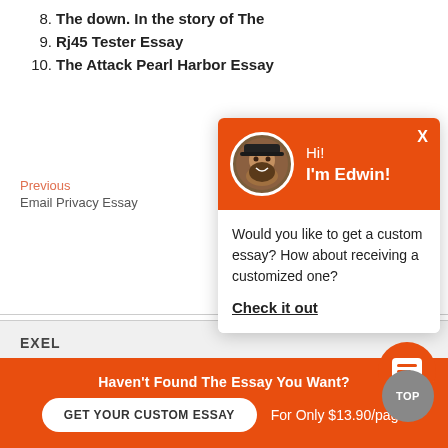8. The down. In the story of The
9. Rj45 Tester Essay
10. The Attack Pearl Harbor Essay
Previous
Email Privacy Essay
ay
[Figure (screenshot): Chat popup with orange header showing avatar of Edwin, greeting 'Hi! I'm Edwin!', and message 'Would you like to get a custom essay? How about receiving a customized one?' with 'Check it out' link and close X button]
EXEL
[Figure (illustration): Orange chat bubble icon button]
TOP
Haven't Found The Essay You Want?
GET YOUR CUSTOM ESSAY
For Only $13.90/page